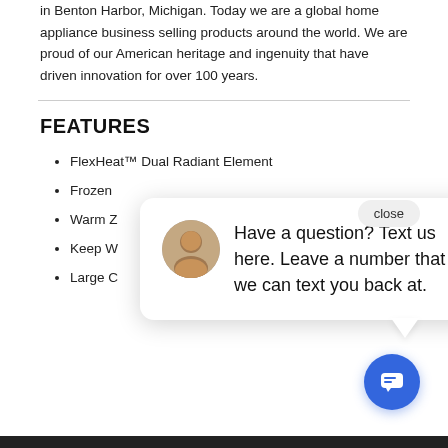in Benton Harbor, Michigan. Today we are a global home appliance business selling products around the world. We are proud of our American heritage and ingenuity that have driven innovation for over 100 years.
FEATURES
FlexHeat™ Dual Radiant Element
Frozen
Warm Z
Keep W
Large C
[Figure (screenshot): Chat popup overlay with avatar photo of a man smiling, text reading 'Have a question? Text us here. Leave a number that we can text you back at.', a close button, and a blue chat icon button at bottom right.]